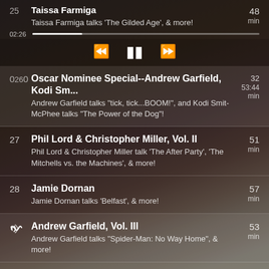25 Taissa Farmiga - Taissa Farmiga talks 'The Gilded Age', & more! - 48 min
[Figure (screenshot): Podcast playback controls: rewind, pause, fast-forward buttons with a progress bar showing 00:26 elapsed]
26 Oscar Nominee Special--Andrew Garfield, Kodi Sm... - Andrew Garfield talks 'tick, tick...BOOM!', and Kodi Smit-McPhee talks 'The Power of the Dog'! - 32:53:44 min
27 Phil Lord & Christopher Miller, Vol. II - Phil Lord & Christopher Miller talk 'The After Party', 'The Mitchells vs. the Machines', & more! - 51 min
28 Jamie Dornan - Jamie Dornan talks 'Belfast', & more! - 57 min
[speaker icon] Andrew Garfield, Vol. III - Andrew Garfield talks 'Spider-Man: No Way Home', & more! - 53 min
30 John Cena - John Cena talks 'The Peacemaker', & more! - 45 min
31 Corey Hawkins - Corey Hawkins talks 'The Tragedy of Macbeth' - 51 min